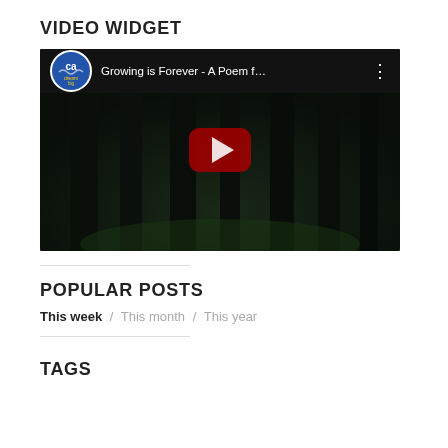VIDEO WIDGET
[Figure (screenshot): YouTube video embed showing 'Growing is Forever - A Poem f…' with a dark forest background and red play button, with a California Dream Big channel logo]
POPULAR POSTS
This week / This month / This year
TAGS